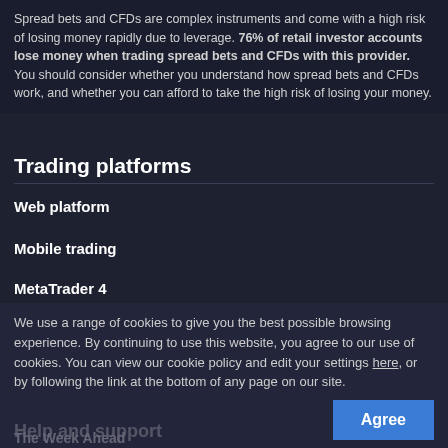Spread bets and CFDs are complex instruments and come with a high risk of losing money rapidly due to leverage. 76% of retail investor accounts lose money when trading spread bets and CFDs with this provider. You should consider whether you understand how spread bets and CFDs work, and whether you can afford to take the high risk of losing your money.
Trading platforms
Web platform
Mobile trading
MetaTrader 4
ProRealTime
Compare features
Learn to trade
The Week Ahead
We use a range of cookies to give you the best possible browsing experience. By continuing to use this website, you agree to our use of cookies. You can view our cookie policy and edit your settings here, or by following the link at the bottom of any page on our site.
Help and support